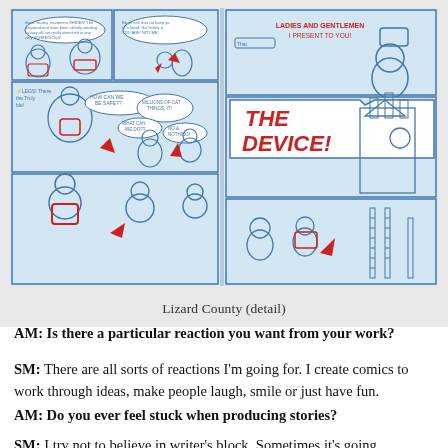[Figure (illustration): A photograph of open comic book pages showing 'Lizard County' artwork, drawn in blue ink with red accents. The left page shows crowded comic panels with characters and speech bubbles. The right page features a large speech bubble saying 'THE DEVICE!' with architectural and character illustrations.]
Lizard County (detail)
AM: Is there a particular reaction you want from your work?
SM: There are all sorts of reactions I'm going for. I create comics to work through ideas, make people laugh, smile or just have fun.
AM: Do you ever feel stuck when producing stories?
SM: I try not to believe in writer's block. Sometimes it's going